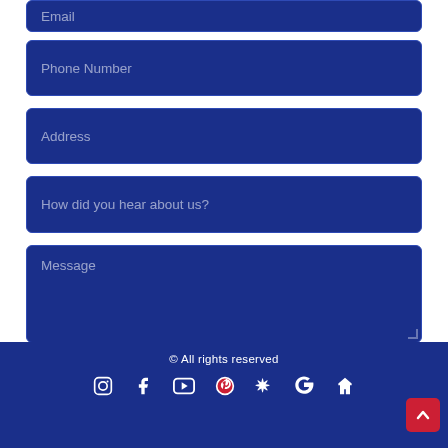[Figure (screenshot): Email input field (dark blue, partially visible at top)]
[Figure (screenshot): Phone Number input field (dark blue)]
[Figure (screenshot): Address input field (dark blue)]
[Figure (screenshot): How did you hear about us? input field (dark blue)]
[Figure (screenshot): Message textarea (dark blue, resizable)]
YES! I WANT MY FREE ESTIMATE
© All rights reserved
[Figure (screenshot): Social media icons row: Instagram, Facebook, YouTube, Pinterest, Yelp, Google, Houzz]